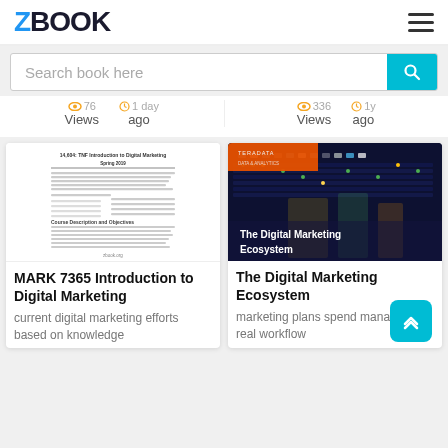ZBOOK
Search book here
Views | ago | Views | ago
[Figure (screenshot): Thumbnail of a document page titled 'MARK 7365 TNF Introduction to Digital Marketing Spring 2019' showing course syllabus text with zbook.org watermark]
[Figure (photo): Photo of server/data center hardware with orange Teradata banner reading 'The Digital Marketing Ecosystem']
MARK 7365 Introduction to Digital Marketing
The Digital Marketing Ecosystem
current digital marketing efforts based on knowledge
marketing plans spend management real workflow